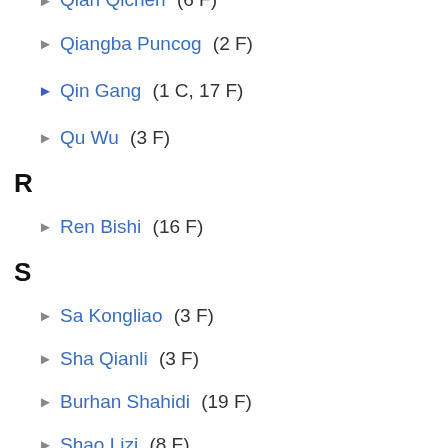Qian Qichen (6 F)
Qiangba Puncog (2 F)
Qin Gang (1 C, 17 F)
Qu Wu (3 F)
R
Ren Bishi (16 F)
S
Sa Kongliao (3 F)
Sha Qianli (3 F)
Burhan Shahidi (19 F)
Shao Lizi (8 F)
Shen Jilan (5 F)
Shen Junru (30 F)